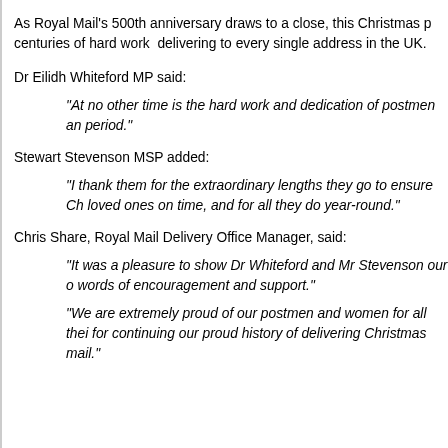As Royal Mail's 500th anniversary draws to a close, this Christmas p centuries of hard work delivering to every single address in the UK.
Dr Eilidh Whiteford MP said:
“At no other time is the hard work and dedication of postmen an period.”
Stewart Stevenson MSP added:
“I thank them for the extraordinary lengths they go to ensure Ch loved ones on time, and for all they do year-round.”
Chris Share, Royal Mail Delivery Office Manager, said:
“It was a pleasure to show Dr Whiteford and Mr Stevenson our o words of encouragement and support.”
“We are extremely proud of our postmen and women for all thei for continuing our proud history of delivering Christmas mail.”